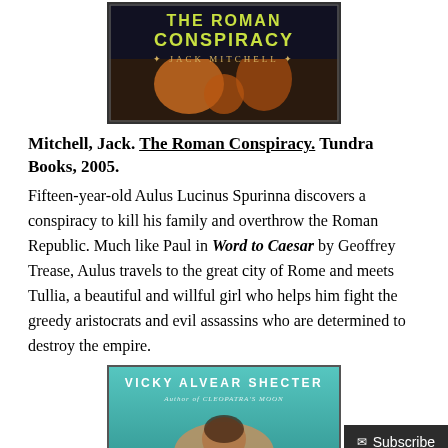[Figure (photo): Book cover of 'The Roman Conspiracy' by Jack Mitchell — title in yellow/green text on dark background with figures]
Mitchell, Jack. The Roman Conspiracy. Tundra Books, 2005.
Fifteen-year-old Aulus Lucinus Spurinna discovers a conspiracy to kill his family and overthrow the Roman Republic. Much like Paul in Word to Caesar by Geoffrey Trease, Aulus travels to the great city of Rome and meets Tullia, a beautiful and willful girl who helps him fight the greedy aristocrats and evil assassins who are determined to destroy the empire.
[Figure (photo): Book cover of a book by Vicky Alvear Shecter, author of Cleopatra's Moon — partial view, teal background with a figure]